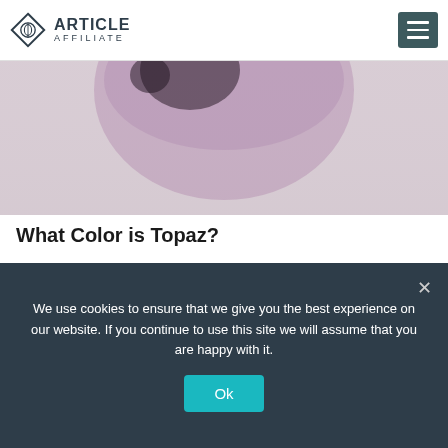ARTICLE AFFILIATE
[Figure (photo): Close-up of a shiny pink/rose metallic circular object on a light gray background, cropped at top]
What Color is Topaz?
August 4, 2022  0
[Figure (photo): Close-up of pale pink rounded objects, possibly gemstones or beads, on a white background]
We use cookies to ensure that we give you the best experience on our website. If you continue to use this site we will assume that you are happy with it.